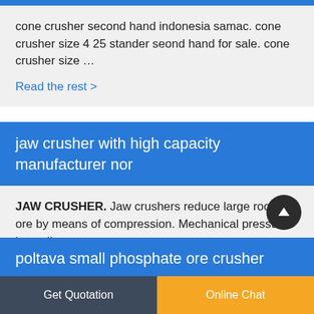cone crusher second hand indonesia samac. cone crusher size 4 25 stander seond hand for sale. cone crusher size …
Read the rest >
jaw crusher with high capacity manufacturer nor
JAW CRUSHER. Jaw crushers reduce large rocks or ore by means of compression. Mechanical pressure is applie…
Read the rest >
poltava small phosphate ore crusher
Get Quotation
Online Chat